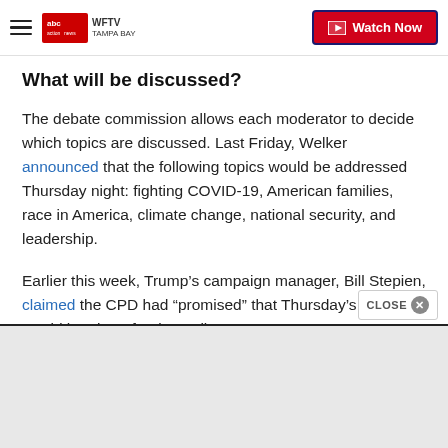WFTV Tampa Bay ABC News - Watch Now
What will be discussed?
The debate commission allows each moderator to decide which topics are discussed. Last Friday, Welker announced that the following topics would be addressed Thursday night: fighting COVID-19, American families, race in America, climate change, national security, and leadership.
Earlier this week, Trump’s campaign manager, Bill Stepien, claimed the CPD had “promised” that Thursday’s debate would be about foreign policy a…